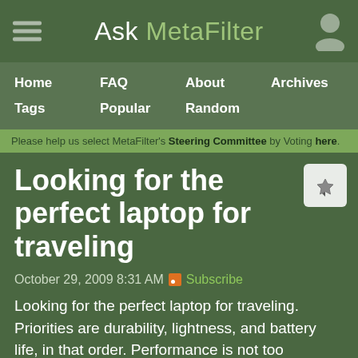Ask MetaFilter
Home  FAQ  About  Archives  Tags  Popular  Random
Please help us select MetaFilter's Steering Committee by Voting here.
Looking for the perfect laptop for traveling
October 29, 2009 8:31 AM  Subscribe
Looking for the perfect laptop for traveling. Priorities are durability, lightness, and battery life, in that order. Performance is not too important, but it must run Windows 7 like a champ. Willing to consider netbooks.
Can spend up to $2000, but obviously I would like to spend no more than I absolutely have to.